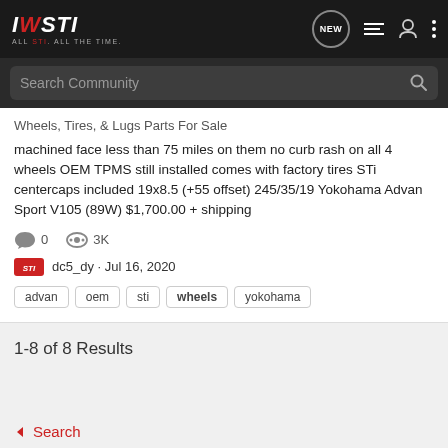IWSTI ALL STI. ALL THE TIME.
Search Community
Wheels, Tires, & Lugs Parts For Sale
machined face less than 75 miles on them no curb rash on all 4 wheels OEM TPMS still installed comes with factory tires STi centercaps included 19x8.5 (+55 offset) 245/35/19 Yokohama Advan Sport V105 (89W) $1,700.00 + shipping
0   3K
dc5_dy · Jul 16, 2020
advan
oem
sti
wheels
yokohama
1-8 of 8 Results
Search